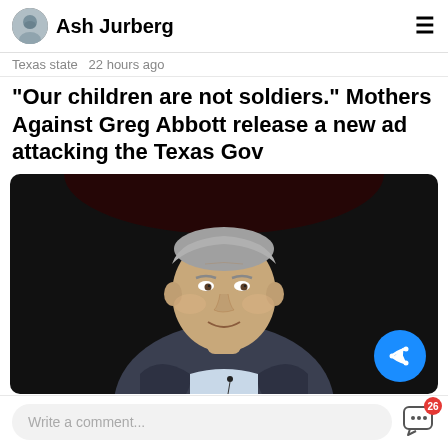Ash Jurberg
Texas state   22 hours ago
"Our children are not soldiers." Mothers Against Greg Abbott release a new ad attacking the Texas Gov
[Figure (photo): Photo of Greg Abbott, a man in a dark suit with a microphone lapel pin, speaking against a dark background, slightly smiling and with hands clasped.]
Write a comment...